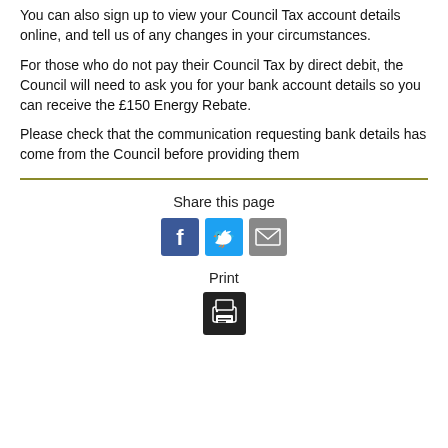You can also sign up to view your Council Tax account details online, and tell us of any changes in your circumstances.
For those who do not pay their Council Tax by direct debit, the Council will need to ask you for your bank account details so you can receive the £150 Energy Rebate.
Please check that the communication requesting bank details has come from the Council before providing them
[Figure (infographic): Share this page section with Facebook, Twitter, and Email icons, followed by a Print section with a printer icon]
Share this page
Print